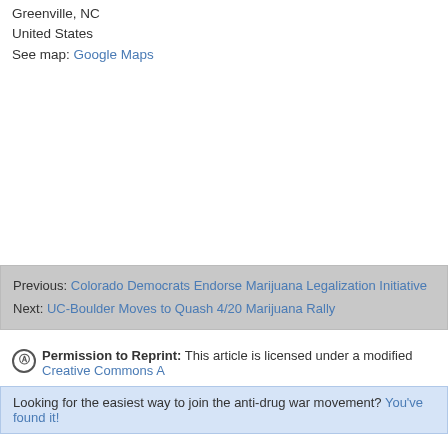Greenville, NC
United States
See map: Google Maps
Previous: Colorado Democrats Endorse Marijuana Legalization Initiative
Next: UC-Boulder Moves to Quash 4/20 Marijuana Rally
Permission to Reprint: This article is licensed under a modified Creative Commons A
Looking for the easiest way to join the anti-drug war movement? You've found it!
Greenville NC
by jiggleplop (not verified), April 18, 2012, 08:44am
Anything over an ounce is intent to sell. Don't move to NC. It is all crazy o